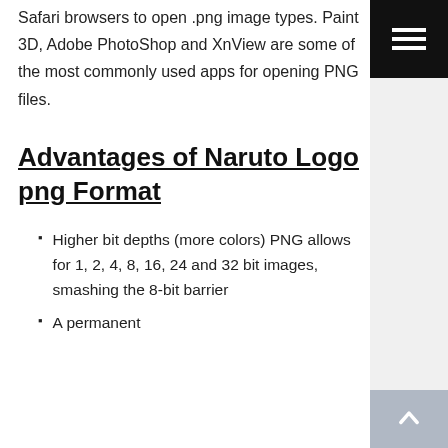Safari browsers to open .png image types. Paint 3D, Adobe PhotoShop and XnView are some of the most commonly used apps for opening PNG files.
Advantages of Naruto Logo png Format
Higher bit depths (more colors) PNG allows for 1, 2, 4, 8, 16, 24 and 32 bit images, smashing the 8-bit barrier
A permanent...